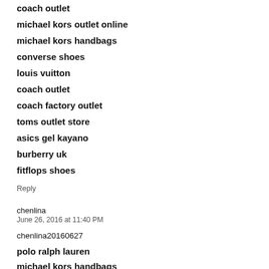coach outlet
michael kors outlet online
michael kors handbags
converse shoes
louis vuitton
coach outlet
coach factory outlet
toms outlet store
asics gel kayano
burberry uk
fitflops shoes
Reply
chenlina
June 26, 2016 at 11:40 PM
chenlina20160627
polo ralph lauren
michael kors handbags